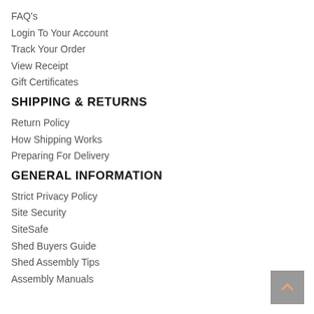FAQ's
Login To Your Account
Track Your Order
View Receipt
Gift Certificates
SHIPPING & RETURNS
Return Policy
How Shipping Works
Preparing For Delivery
GENERAL INFORMATION
Strict Privacy Policy
Site Security
SiteSafe
Shed Buyers Guide
Shed Assembly Tips
Assembly Manuals